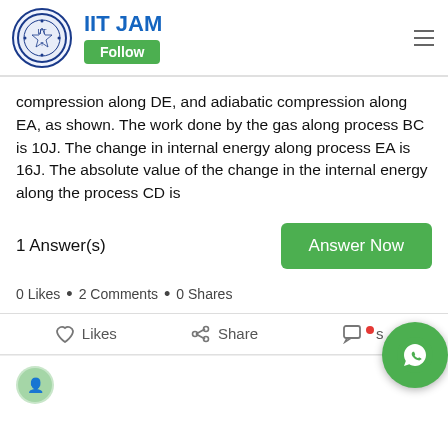[Figure (logo): IIT JAM circular logo with blue border and Indian emblem]
IIT JAM
Follow
compression along DE, and adiabatic compression along EA, as shown. The work done by the gas along process BC is 10J. The change in internal energy along process EA is 16J. The absolute value of the change in the internal energy along the process CD is
1 Answer(s)
Answer Now
0 Likes  •  2 Comments  •  0 Shares
Likes   Share   Comments